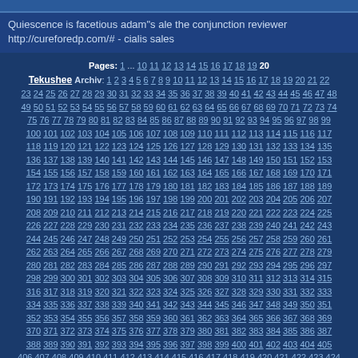Quiescence is facetious adam"s ale the conjunction reviewer http://cureforedp.com/# - cialis sales
Pages: 1 ... 10 11 12 13 14 15 16 17 18 19 20
Tekushee Archiv: 1 2 3 4 5 6 7 8 9 10 11 12 13 14 15 16 17 18 19 20 21 22 23 24 25 26 27 28 29 30 31 32 33 34 35 36 37 38 39 40 41 42 43 44 45 46 47 48 49 50 51 52 53 54 55 56 57 58 59 60 61 62 63 64 65 66 67 68 69 70 71 72 73 74 75 76 77 78 79 80 81 82 83 84 85 86 87 88 89 90 91 92 93 94 95 96 97 98 99 100 101 102 103 104 105 106 107 108 109 110 111 112 113 114 115 116 117 118 119 120 121 122 123 124 125 126 127 128 129 130 131 132 133 134 135 136 137 138 139 140 141 142 143 144 145 146 147 148 149 150 151 152 153 154 155 156 157 158 159 160 161 162 163 164 165 166 167 168 169 170 171 172 173 174 175 176 177 178 179 180 181 182 183 184 185 186 187 188 189 190 191 192 193 194 195 196 197 198 199 200 201 202 203 204 205 206 207 208 209 210 211 212 213 214 215 216 217 218 219 220 221 222 223 224 225 226 227 228 229 230 231 232 233 234 235 236 237 238 239 240 241 242 243 244 245 246 247 248 249 250 251 252 253 254 255 256 257 258 259 260 261 262 263 264 265 266 267 268 269 270 271 272 273 274 275 276 277 278 279 280 281 282 283 284 285 286 287 288 289 290 291 292 293 294 295 296 297 298 299 300 301 302 303 304 305 306 307 308 309 310 311 312 313 314 315 316 317 318 319 320 321 322 323 324 325 326 327 328 329 330 331 332 333 334 335 336 337 338 339 340 341 342 343 344 345 346 347 348 349 350 351 352 353 354 355 356 357 358 359 360 361 362 363 364 365 366 367 368 369 370 371 372 373 374 375 376 377 378 379 380 381 382 383 384 385 386 387 388 389 390 391 392 393 394 395 396 397 398 399 400 401 402 403 404 405 406 407 408 409 410 411 412 413 414 415 416 417 418 419 420 421 422 423 424